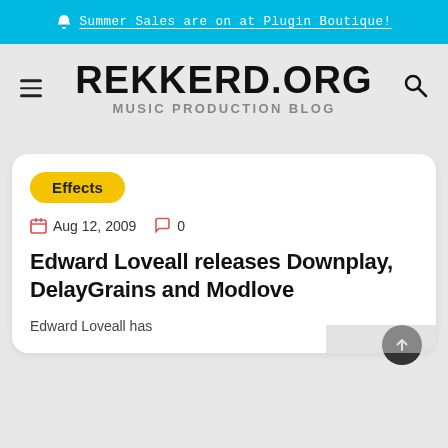🔔 Summer Sales are on at Plugin Boutique!
REKKERD.ORG
MUSIC PRODUCTION BLOG
Effects
Aug 12, 2009  0
Edward Loveall releases Downplay, DelayGrains and Modlove
Edward Loveall has